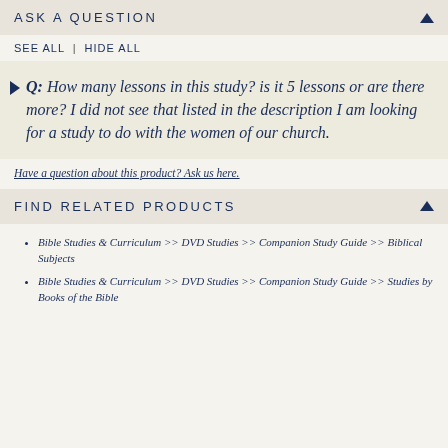ASK A QUESTION
SEE ALL | HIDE ALL
Q: How many lessons in this study? is it 5 lessons or are there more? I did not see that listed in the description I am looking for a study to do with the women of our church.
Have a question about this product? Ask us here.
FIND RELATED PRODUCTS
Bible Studies & Curriculum >> DVD Studies >> Companion Study Guide >> Biblical Subjects
Bible Studies & Curriculum >> DVD Studies >> Companion Study Guide >> Studies by Books of the Bible